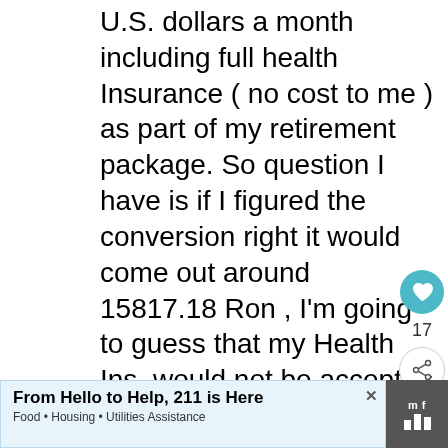U.S. dollars a month including full health Insurance ( no cost to me ) as part of my retirement package. So question I have is if I figured the conversion right it would come out around 15817.18 Ron , I'm going to guess that my Health Ins. would not be accepted over there ? I saw you mention that private Ins starts around 60 Ron but do you know what a good coverage would cost including prescription medicine or what the cost low & high is on health Ins ? also how comfortable
[Figure (other): Heart/like button (teal circle with heart icon), count 17, and share button icons on the right sidebar]
From Hello to Help, 211 is Here
Food • Housing • Utilities Assistance